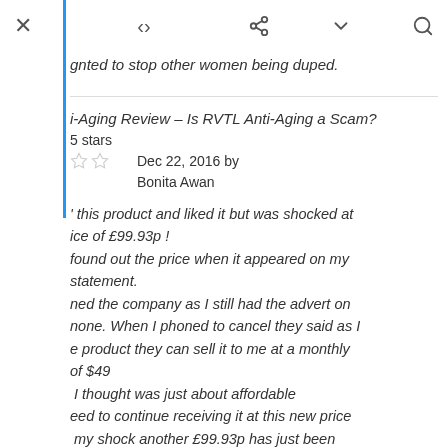× (share) (chevron) (search)
gnted to stop other women being duped.
i-Aging Review – Is RVTL Anti-Aging a Scam?
5 stars
Dec 22, 2016 by Bonita Awan
' this product and liked it but was shocked at ice of £99.93p ! found out the price when it appeared on my statement. ned the company as I still had the advert on none. When I phoned to cancel they said as I e product they can sell it to me at a monthly of $49 I thought was just about affordable eed to continue receiving it at this new price  my shock another £99.93p has just been